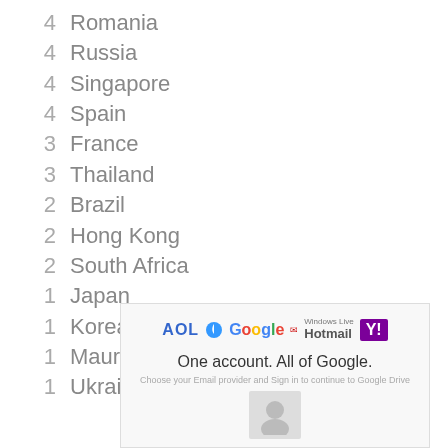4  Romania
4  Russia
4  Singapore
4  Spain
3  France
3  Thailand
2  Brazil
2  Hong Kong
2  South Africa
1  Japan
1  Korea
1  Mauritius
1  Ukraine
[Figure (screenshot): An advertisement showing AOL, Google, Hotmail, and Yahoo logos with the tagline 'One account. All of Google.' and a login avatar area below.]